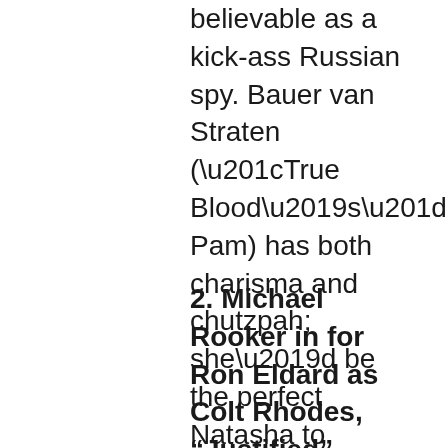believable as a kick-ass Russian spy. Bauer van Straten (“True Blood’s” Pam) has both charisma and chutzpah; she’d be the perfect Natasha to Rhy’s Boris.
2. Michael Rooker in for Ron Eldard as Colt Rhodes, “Justified”